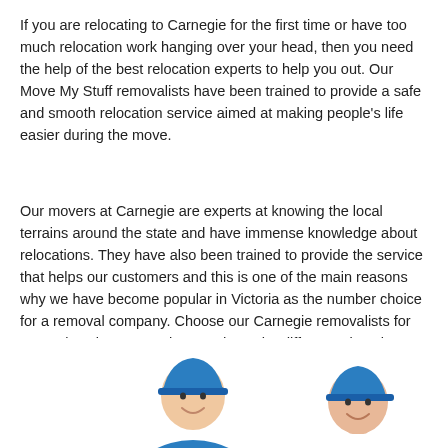If you are relocating to Carnegie for the first time or have too much relocation work hanging over your head, then you need the help of the best relocation experts to help you out. Our Move My Stuff removalists have been trained to provide a safe and smooth relocation service aimed at making people's life easier during the move.
Our movers at Carnegie are experts at knowing the local terrains around the state and have immense knowledge about relocations. They have also been trained to provide the service that helps our customers and this is one of the main reasons why we have become popular in Victoria as the number choice for a removal company. Choose our Carnegie removalists for your relocation to anywhere and see the difference it makes on your move.
[Figure (photo): Two men in blue uniforms and blue caps (removalists) shown from the shoulders up, smiling, partially cropped at the bottom of the page]